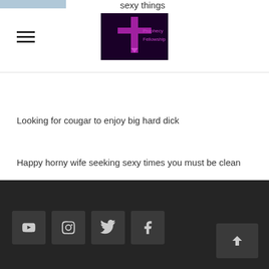sexy things — Prophecy Fellowship logo header with hamburger menu
Looking for cougar to enjoy big hard dick
Happy horny wife seeking sexy times you must be clean
Just looking for fun and chats candle lit dinners
Social icons: YouTube, Instagram, Twitter, Facebook. Back to top button.